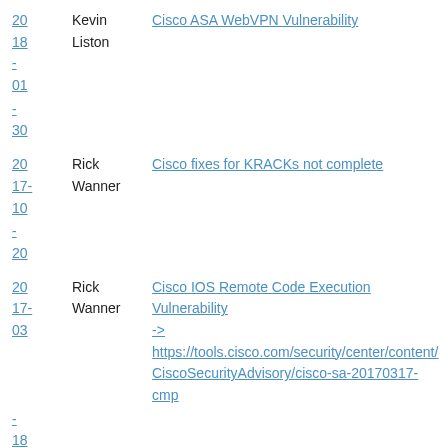20
18
-
01  Kevin Liston  Cisco ASA WebVPN Vulnerability
-
30
20
17-
10  Rick Wanner  Cisco fixes for KRACKs not complete
-
20
20
17-
03  Rick Wanner  Cisco IOS Remote Code Execution Vulnerability -> https://tools.cisco.com/security/center/content/CiscoSecurityAdvisory/cisco-sa-20170317-cmp
-
18
20
17-  Lorna